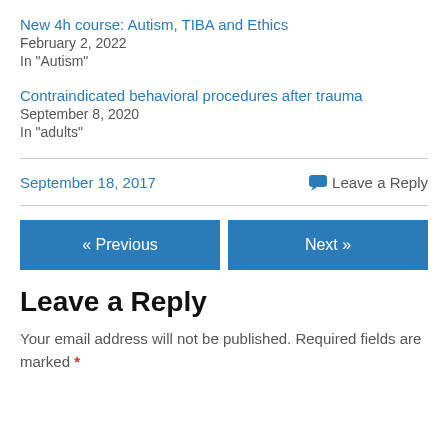New 4h course: Autism, TIBA and Ethics
February 2, 2022
In "Autism"
Contraindicated behavioral procedures after trauma
September 8, 2020
In "adults"
September 18, 2017
Leave a Reply
« Previous
Next »
Leave a Reply
Your email address will not be published. Required fields are marked *